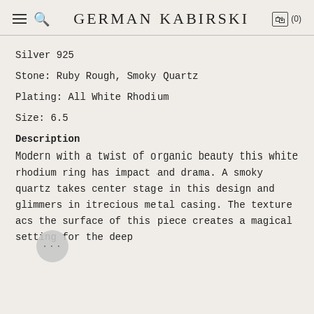GERMAN KABIRSKI
Silver 925
Stone: Ruby Rough, Smoky Quartz
Plating: All White Rhodium
Size: 6.5
Description
Modern with a twist of organic beauty this white rhodium ring has impact and drama. A smoky quartz takes center stage in this design and glimmers in it precious metal casing. The texture across the surface of this piece creates a magical setting for the deep